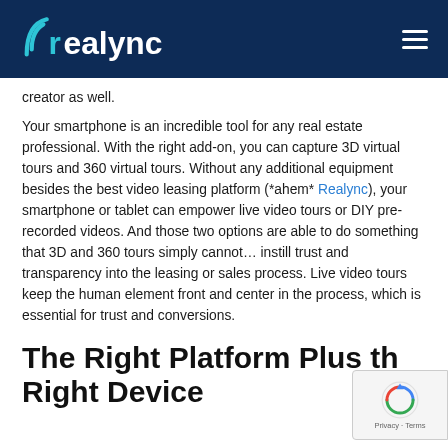realync
creator as well.
Your smartphone is an incredible tool for any real estate professional. With the right add-on, you can capture 3D virtual tours and 360 virtual tours. Without any additional equipment besides the best video leasing platform (*ahem* Realync), your smartphone or tablet can empower live video tours or DIY pre-recorded videos. And those two options are able to do something that 3D and 360 tours simply cannot… instill trust and transparency into the leasing or sales process. Live video tours keep the human element front and center in the process, which is essential for trust and conversions.
The Right Platform Plus the Right Device